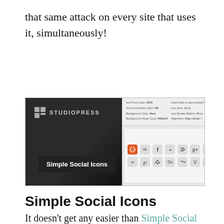that same attack on every site that uses it, simultaneously!
[Figure (screenshot): Screenshot of Simple Social Icons WordPress plugin by StudioPress, showing a dark left panel with the StudioPress logo and plugin name label, and a right panel with settings fields (Icon Font Color, Icon Font Hover Color, Background Color, Background Hover Color, Open links in new window, Icon Size, Icon Border Radius, Alignment) and a grid of social media icons including Dribbble, email, Facebook, Flickr, GitHub, Google+, Instagram, LinkedIn, Pinterest, RSS, StumbleUpon, Twitter, Vine, YouTube.]
Simple Social Icons
It doesn’t get any easier than Simple Social